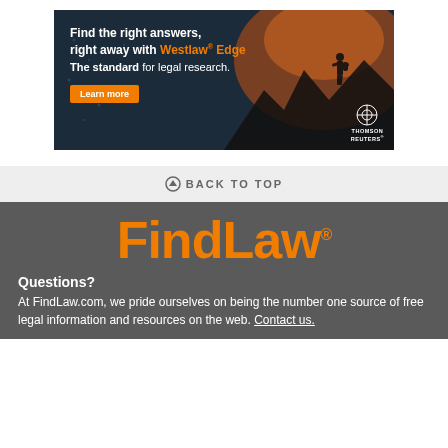[Figure (illustration): Westlaw Edge advertisement banner with dark blue background, silhouette of person on mountain at sunset, Thomson Reuters logo. Text: Find the right answers, right away with Westlaw Edge. The standard for legal research. Learn more button.]
⬆ BACK TO TOP
[Figure (logo): FindLaw logo in large orange text on dark grey background]
Questions?
At FindLaw.com, we pride ourselves on being the number one source of free legal information and resources on the web. Contact us.